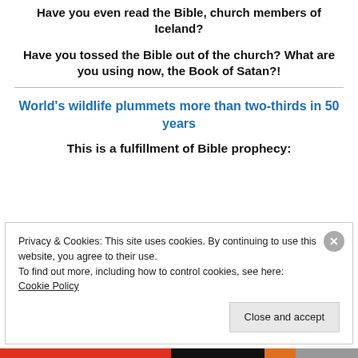Have you even read the Bible, church members of Iceland?
Have you tossed the Bible out of the church? What are you using now, the Book of Satan?!
World's wildlife plummets more than two-thirds in 50 years
This is a fulfillment of Bible prophecy:
Privacy & Cookies: This site uses cookies. By continuing to use this website, you agree to their use.
To find out more, including how to control cookies, see here: Cookie Policy